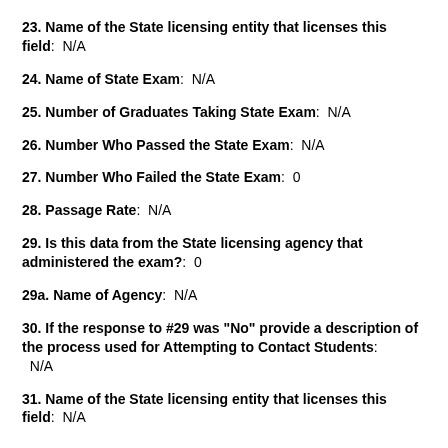23. Name of the State licensing entity that licenses this field:  N/A
24. Name of State Exam:  N/A
25. Number of Graduates Taking State Exam:  N/A
26. Number Who Passed the State Exam:  N/A
27. Number Who Failed the State Exam:  0
28. Passage Rate:  N/A
29. Is this data from the State licensing agency that administered the exam?:  0
29a. Name of Agency:  N/A
30. If the response to #29 was "No" provide a description of the process used for Attempting to Contact Students:  N/A
31. Name of the State licensing entity that licenses this field:  N/A